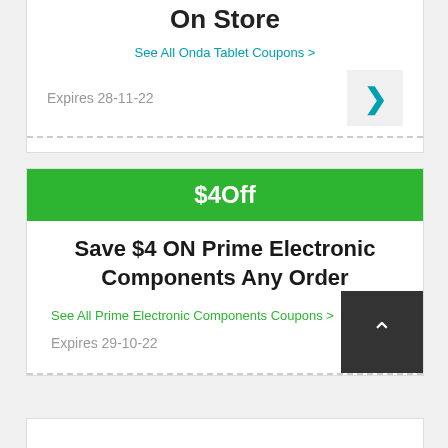On Store
See All Onda Tablet Coupons >
Expires 28-11-22
$4Off
Save $4 ON Prime Electronic Components Any Order
See All Prime Electronic Components Coupons >
Expires 29-10-22